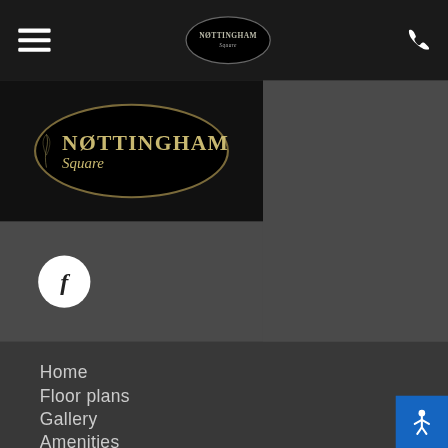Navigation bar with hamburger menu, Nottingham Square logo, and phone icon
[Figure (logo): Nottingham Square Apartments logo - oval shaped with gold text on black background]
[Figure (logo): Facebook social icon - white circle with 'f' letter]
Home
Floor plans
Gallery
Amenities
Neighborhood
Contact Us
Nottingham Square Apartments
2444 N Nottingham Way
Moore, OK 73160